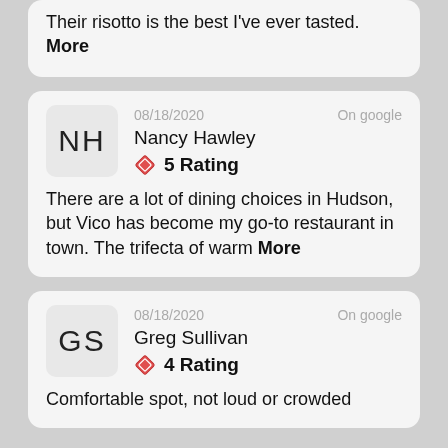Their risotto is the best I've ever tasted. More
08/18/2020 On google Nancy Hawley 5 Rating There are a lot of dining choices in Hudson, but Vico has become my go-to restaurant in town. The trifecta of warm More
08/18/2020 On google Greg Sullivan 4 Rating Comfortable spot, not loud or crowded